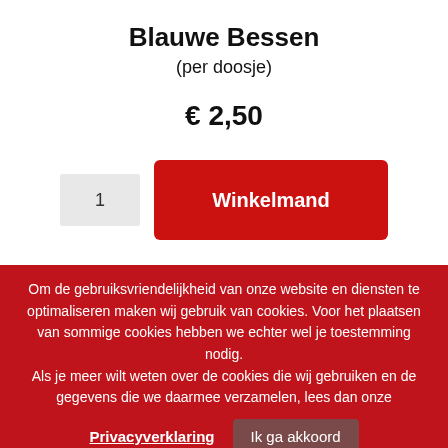Blauwe Bessen
(per doosje)
€ 2,50
1
Winkelmand
Om de gebruiksvriendelijkheid van onze website en diensten te optimaliseren maken wij gebruik van cookies. Voor het plaatsen van sommige cookies hebben we echter wel je toestemming nodig.
Als je meer wilt weten over de cookies die wij gebruiken en de gegevens die we daarmee verzamelen, lees dan onze
Privacyverklaring
Ik ga akkoord